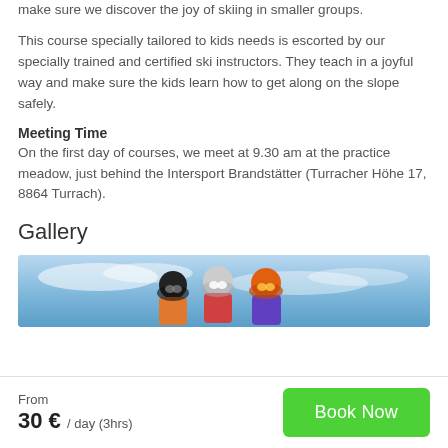make sure we discover the joy of skiing in smaller groups.
This course specially tailored to kids needs is escorted by our specially trained and certified ski instructors. They teach in a joyful way and make sure the kids learn how to get along on the slope safely.
Meeting Time
On the first day of courses, we meet at 9.30 am at the practice meadow, just behind the Intersport Brandstätter (Turracher Höhe 17, 8864 Turrach).
Gallery
[Figure (photo): Photo of children in ski helmets and goggles on a snowy slope with blue sky background]
From
30 € / day (3hrs)
Book Now